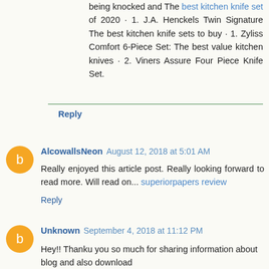being knocked and The best kitchen knife set of 2020 · 1. J.A. Henckels Twin Signature The best kitchen knife sets to buy · 1. Zyliss Comfort 6-Piece Set: The best value kitchen knives · 2. Viners Assure Four Piece Knife Set.
Reply
AlcowallsNeon  August 12, 2018 at 5:01 AM
Really enjoyed this article post. Really looking forward to read more. Will read on... superiorpapers review
Reply
Unknown  September 4, 2018 at 11:12 PM
Hey!! Thanku you so much for sharing information about blog and also download real racing 3 mod apk ppsspp gold apk